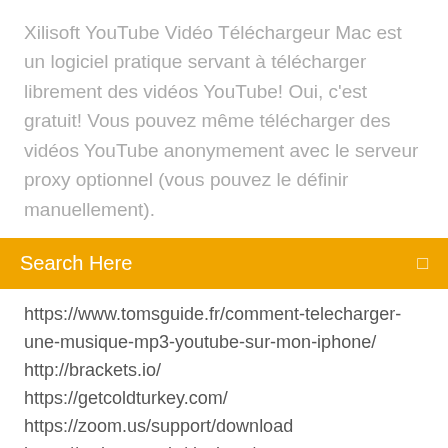Xilisoft YouTube Vidéo Téléchargeur Mac est un logiciel pratique servant à télécharger librement des vidéos YouTube! Oui, c'est gratuit! Vous pouvez même télécharger des vidéos YouTube anonymement avec le serveur proxy optionnel (vous pouvez le définir manuellement).
Search Here
https://www.tomsguide.fr/comment-telecharger-une-musique-mp3-youtube-sur-mon-iphone/ http://brackets.io/ https://getcoldturkey.com/ https://zoom.us/support/download https://webtorrent.io/desktop/
MacBook Pro - Quel MacBook Pro pour faire de la vidéo ... Bonjour, Actuellement utilisateur de PC, je souhaite investir dans un MacBook Pro pour mon travail, de préférence encore muni de port USB. Etant donné que j'ai un budget serré, j'aimerai trouver un MacBook Pro d'occasion (par ex MacBook pro 2015).